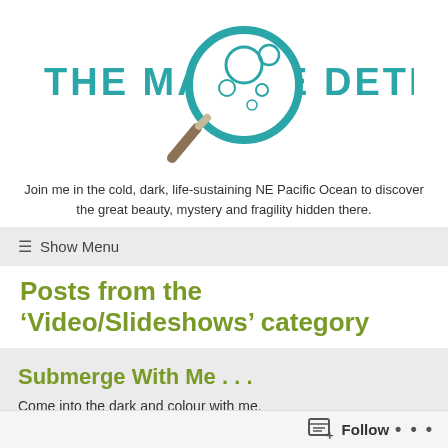[Figure (logo): The Marine Detective logo: teal bold text 'THE MARINE DETECTIVE' with a magnifying glass illustration overlapping the text, containing bubble shapes inside the lens]
Join me in the cold, dark, life-sustaining NE Pacific Ocean to discover the great beauty, mystery and fragility hidden there.
≡ Show Menu
Posts from the ‘Video/Slideshows’ category
Submerge With Me . . .
Come into the dark and colour with me.
Follow ...